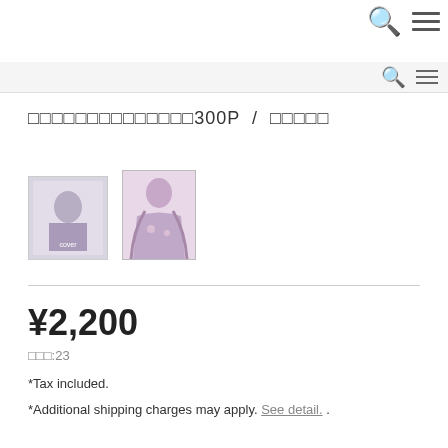Navigation header with search and menu icons
□□□□□□□□□□□□□□300P / □□□□□
[Figure (photo): Two anime-style product images: a box/cover image and a character illustration]
¥2,200
□□□:23
*Tax included.
*Additional shipping charges may apply. See detail. .